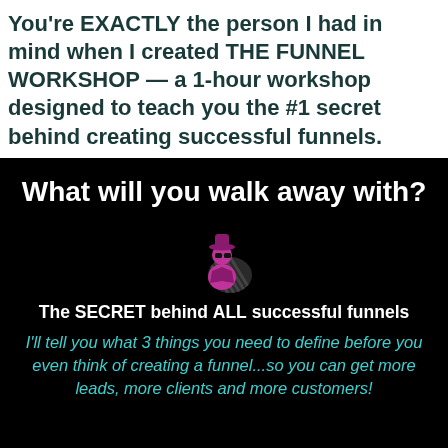You're EXACTLY the person I had in mind when I created THE FUNNEL WORKSHOP — a 1-hour workshop designed to teach you the #1 secret behind creating successful funnels.
What will you walk away with?
[Figure (illustration): Pink/magenta spy figure icon with hat and dark diagonal striped shadow background]
The SECRET behind ALL successful funnels
I'll tell you what 3 things you need to define before you even think of creating a funnel...so you can get more leads, more clients and more customers!